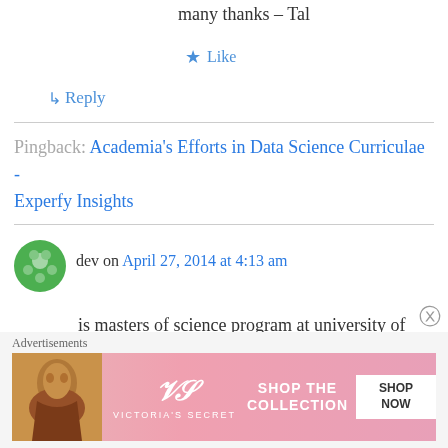many thanks – Tal
★ Like
↳ Reply
Pingback: Academia's Efforts in Data Science Curriculae - Experfy Insights
dev on April 27, 2014 at 4:13 am
is masters of science program at university of cincinnati very good?there has been a big hype for that particular course.can anyone help me out here?
Advertisements
[Figure (photo): Victoria's Secret advertisement banner with a woman and 'SHOP THE COLLECTION SHOP NOW' text]